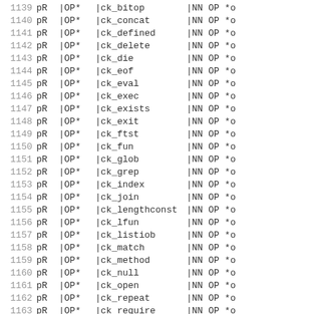| 1139 | pR | |OP* | |ck_bitop | |NN OP *o |
| 1140 | pR | |OP* | |ck_concat | |NN OP *o |
| 1141 | pR | |OP* | |ck_defined | |NN OP *o |
| 1142 | pR | |OP* | |ck_delete | |NN OP *o |
| 1143 | pR | |OP* | |ck_die | |NN OP *o |
| 1144 | pR | |OP* | |ck_eof | |NN OP *o |
| 1145 | pR | |OP* | |ck_eval | |NN OP *o |
| 1146 | pR | |OP* | |ck_exec | |NN OP *o |
| 1147 | pR | |OP* | |ck_exists | |NN OP *o |
| 1148 | pR | |OP* | |ck_exit | |NN OP *o |
| 1149 | pR | |OP* | |ck_ftst | |NN OP *o |
| 1150 | pR | |OP* | |ck_fun | |NN OP *o |
| 1151 | pR | |OP* | |ck_glob | |NN OP *o |
| 1152 | pR | |OP* | |ck_grep | |NN OP *o |
| 1153 | pR | |OP* | |ck_index | |NN OP *o |
| 1154 | pR | |OP* | |ck_join | |NN OP *o |
| 1155 | pR | |OP* | |ck_lengthconst | |NN OP *o |
| 1156 | pR | |OP* | |ck_lfun | |NN OP *o |
| 1157 | pR | |OP* | |ck_listiob | |NN OP *o |
| 1158 | pR | |OP* | |ck_match | |NN OP *o |
| 1159 | pR | |OP* | |ck_method | |NN OP *o |
| 1160 | pR | |OP* | |ck_null | |NN OP *o |
| 1161 | pR | |OP* | |ck_open | |NN OP *o |
| 1162 | pR | |OP* | |ck_repeat | |NN OP *o |
| 1163 | pR | |OP* | |ck_require | |NN OP *o |
| 1164 | pR | |OP* | |ck_retarget | |NN OP *o |
| 1165 | pR | |OP* | |ck_return | |NN OP *o |
| 1166 | pR | |OP* | |ck_rfun | |NN OP *o |
| 1167 | pR | |OP* | |ck_rvconst | |NN OP *o |
| 1168 | pR | |OP* | |ck_sassign | |NN OP *o |
| 1169 | pR | |OP* | |ck_select | |NN OP *o |
| 1170 | pR | |OP* | |ck_shift | |NN OP *o |